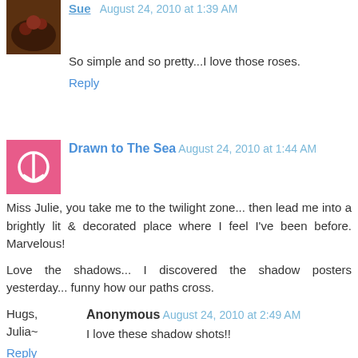Sue August 24, 2010 at 1:39 AM
So simple and so pretty...I love those roses.
Reply
Drawn to The Sea August 24, 2010 at 1:44 AM
Miss Julie, you take me to the twilight zone... then lead me into a brightly lit & decorated place where I feel I've been before. Marvelous!

Love the shadows... I discovered the shadow posters yesterday... funny how our paths cross.

Hugs,
Julia~
Reply
Anonymous August 24, 2010 at 2:49 AM
I love these shadow shots!!